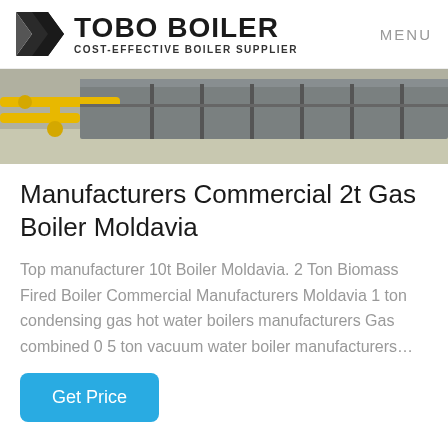TOBO BOILER — COST-EFFECTIVE BOILER SUPPLIER | MENU
[Figure (photo): Industrial boiler equipment with yellow gas pipes and metal machinery]
Manufacturers Commercial 2t Gas Boiler Moldavia
Top manufacturer 10t Boiler Moldavia. 2 Ton Biomass Fired Boiler Commercial Manufacturers Moldavia 1 ton condensing gas hot water boilers manufacturers Gas combined 0 5 ton vacuum water boiler manufacturers…
Get Price
[Figure (photo): Industrial boiler pipes and gauges, partially visible at bottom of page]